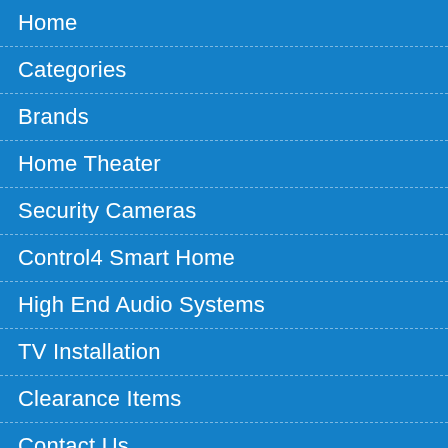Home
Categories
Brands
Home Theater
Security Cameras
Control4 Smart Home
High End Audio Systems
TV Installation
Clearance Items
Contact Us